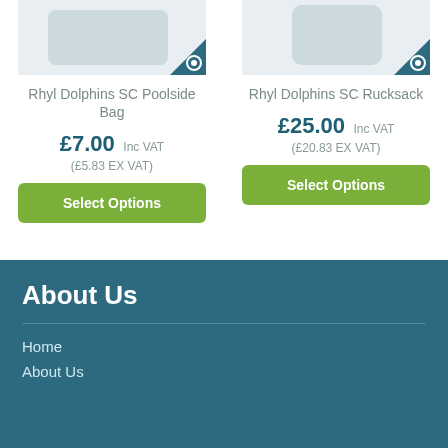[Figure (photo): Product image of Rhyl Dolphins SC Poolside Bag with eye icon overlay]
Rhyl Dolphins SC Poolside Bag
£7.00 Inc VAT (£5.83 EX VAT)
Select Options
[Figure (photo): Product image of Rhyl Dolphins SC Rucksack with eye icon overlay]
Rhyl Dolphins SC Rucksack
£25.00 Inc VAT (£20.83 EX VAT)
Select Options
About Us
Home
About Us